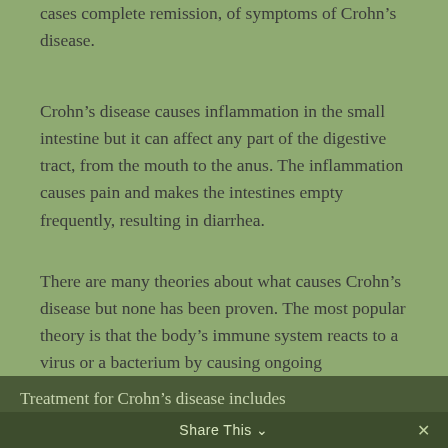cases complete remission, of symptoms of Crohn’s disease.
Crohn’s disease causes inflammation in the small intestine but it can affect any part of the digestive tract, from the mouth to the anus. The inflammation causes pain and makes the intestines empty frequently, resulting in diarrhea.
There are many theories about what causes Crohn’s disease but none has been proven. The most popular theory is that the body’s immune system reacts to a virus or a bacterium by causing ongoing inflammation in the intestine.
Treatment for Crohn’s disease includes